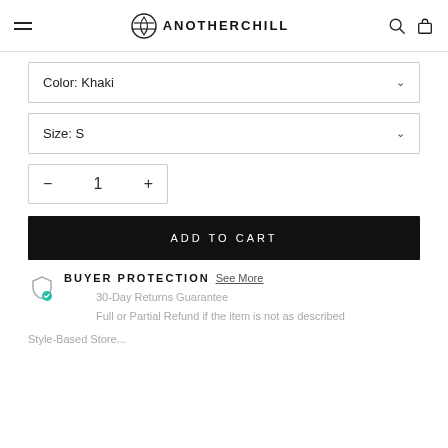ANOTHERCHILL
Color: Khaki
Size: S
1
ADD TO CART
BUYER PROTECTION See More
30-Day Returns Guarantee
Full or Partial Refund if the item is not as described
Style-Based Store...